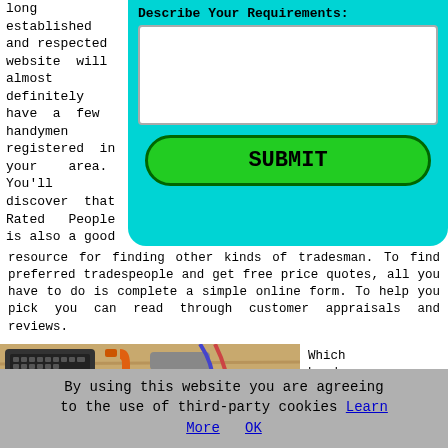long established and respected website will almost definitely have a few handymen registered in your area. You'll discover that Rated People is also a good resource for finding other kinds of tradesman. To find preferred tradespeople and get free price quotes, all you have to do is complete a simple online form. To help you pick you can read through customer appraisals and reviews.
[Figure (screenshot): Cyan form area with label 'Describe Your Requirements:' and a white text area input, plus a green rounded SUBMIT button]
[Figure (photo): Photo of handyman tools including a laptop keyboard, hammer, orange C-clamp, cables, and a yellow hard hat on a wooden surface]
Which handyman you pick may well depend on
By using this website you are agreeing to the use of third-party cookies Learn More OK